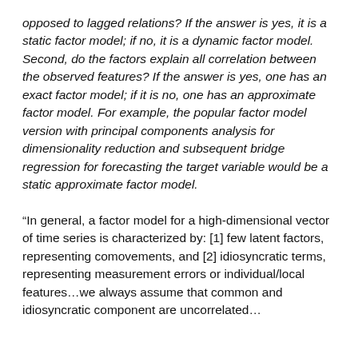opposed to lagged relations? If the answer is yes, it is a static factor model; if no, it is a dynamic factor model. Second, do the factors explain all correlation between the observed features? If the answer is yes, one has an exact factor model; if it is no, one has an approximate factor model. For example, the popular factor model version with principal components analysis for dimensionality reduction and subsequent bridge regression for forecasting the target variable would be a static approximate factor model.
“In general, a factor model for a high-dimensional vector of time series is characterized by: [1] few latent factors, representing comovements, and [2] idiosyncratic terms, representing measurement errors or individual/local features…we always assume that common and idiosyncratic component are uncorrelated…